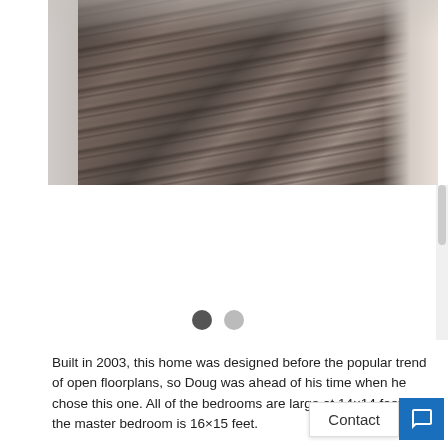[Figure (photo): Interior photo of a home showing hardwood floors and kitchen counter with marble surface, perspective view down a hallway]
Built in 2003, this home was designed before the popular trend of open floorplans, so Doug was ahead of his time when he chose this one. All of the bedrooms are large at 14×14 feet and the master bedroom is 16×15 feet.
The home boasts hardwood floors, carpet in the bedrooms and tile in the bathrooms. Coming from northern PA, Doug loved the warm feel and so there is wood trim throughout the home and all of the doors are solid wood.